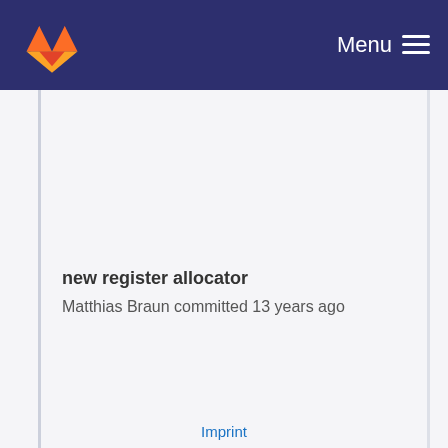Menu
new register allocator
Matthias Braun committed 13 years ago
Imprint